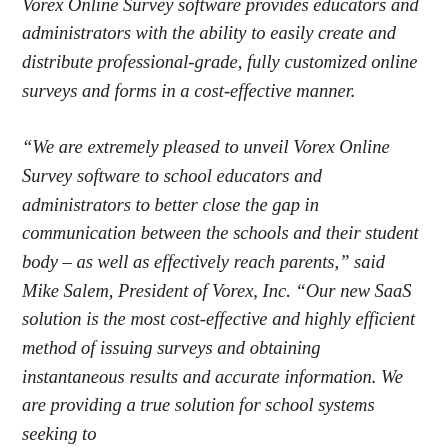colleges and career colleges. The new web-based Vorex Online Survey software provides educators and administrators with the ability to easily create and distribute professional-grade, fully customized online surveys and forms in a cost-effective manner.
“We are extremely pleased to unveil Vorex Online Survey software to school educators and administrators to better close the gap in communication between the schools and their student body – as well as effectively reach parents,” said Mike Salem, President of Vorex, Inc. “Our new SaaS solution is the most cost-effective and highly efficient method of issuing surveys and obtaining instantaneous results and accurate information. We are providing a true solution for school systems seeking to